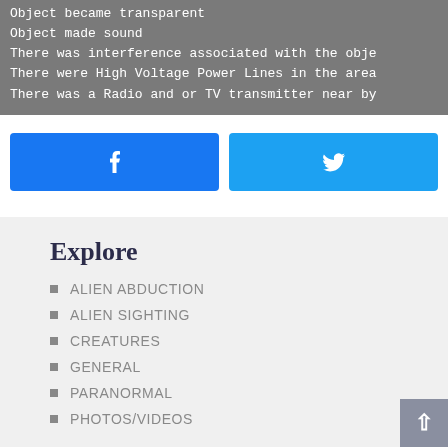Object became transparent
Object made sound
There was interference associated with the obje
There were High Voltage Power Lines in the area
There was a Radio and or TV transmitter near by
[Figure (other): Facebook and Twitter share buttons]
Explore
ALIEN ABDUCTION
ALIEN SIGHTING
CREATURES
GENERAL
PARANORMAL
PHOTOS/VIDEOS